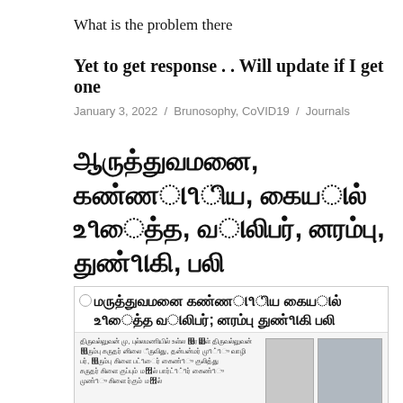What is the problem there
Yet to get response . . Will update if I get one
January 3, 2022 / Brunosophy, CoVID19 / Journals
Tamil script title (transliterated)
[Figure (photo): Newspaper clipping in Tamil with headline text and a small portrait photo and additional image]